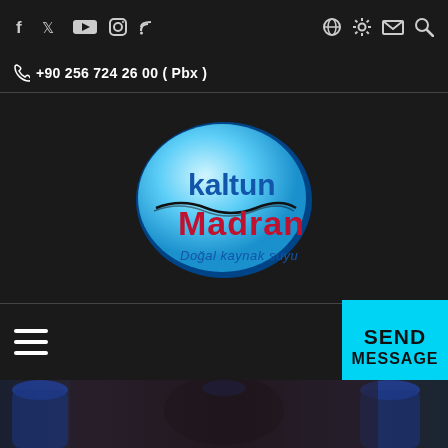Social icons: f (Facebook), Twitter, YouTube, Instagram, RSS | Right icons: globe, settings/sun, email, search
+90 256 724 26 00 ( Pbx )
[Figure (logo): Kaltun Madran natural spring water oval logo with blue gradient background, text 'kaltun' in blue and 'Madran' in red, tagline 'Doğal kaynak suyu' in italic]
[Figure (infographic): Hamburger menu icon (three white horizontal lines)]
SEND MESSAGE
[Figure (photo): Dark blurred background photo showing water bottles with blue caps, trees/nature in background]